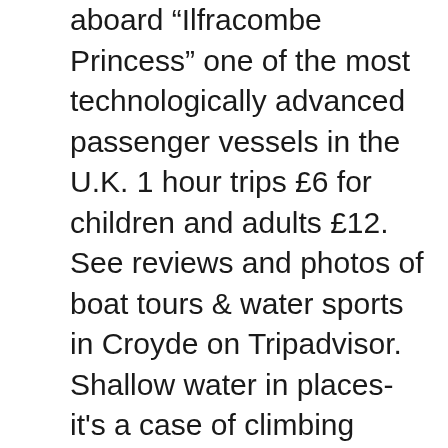aboard “Ilfracombe Princess” one of the most technologically advanced passenger vessels in the U.K. 1 hour trips £6 for children and adults £12. See reviews and photos of boat tours & water sports in Croyde on Tripadvisor. Shallow water in places- it's a case of climbing down at low and making your way out to a spot. Although only three miles in length, and half-a-mile wide, the Island offers an amazingly diverse range of things to do for day-trippers. Top Croyde Boat Tours & Water Sports: See reviews and photos of boat tours & water sports in Croyde, United Kingdom on Tripadvisor. Boat trip to Lundy. Read the reviews of your fellow travelers. Local activities for an active break include the tarka